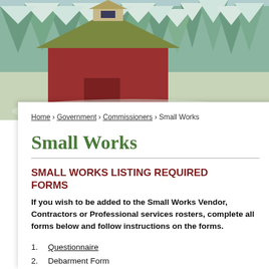[Figure (photo): Aerial/scenic photo of a red barn with a cupola roof, surrounded by snow-covered evergreen trees in the background, wintery rural landscape]
Home › Government › Commissioners › Small Works
Small Works
SMALL WORKS LISTING REQUIRED FORMS
If you wish to be added to the Small Works Vendor, Contractors or Professional services rosters, complete all forms below and follow instructions on the forms.
1. Questionnaire
2. Debarment Form